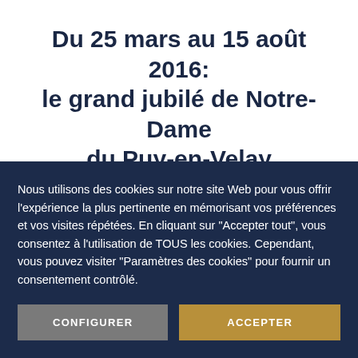Du 25 mars au 15 août 2016: le grand jubilé de Notre-Dame du Puy-en-Velay
VOIR »
Nous utilisons des cookies sur notre site Web pour vous offrir l'expérience la plus pertinente en mémorisant vos préférences et vos visites répétées. En cliquant sur "Accepter tout", vous consentez à l'utilisation de TOUS les cookies. Cependant, vous pouvez visiter "Paramètres des cookies" pour fournir un consentement contrôlé.